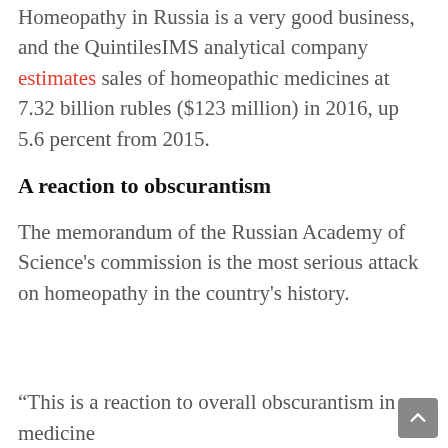Homeopathy in Russia is a very good business, and the QuintilesIMS analytical company estimates sales of homeopathic medicines at 7.32 billion rubles ($123 million) in 2016, up 5.6 percent from 2015.
A reaction to obscurantism
The memorandum of the Russian Academy of Science's commission is the most serious attack on homeopathy in the country's history.
“This is a reaction to overall obscurantism in medicine